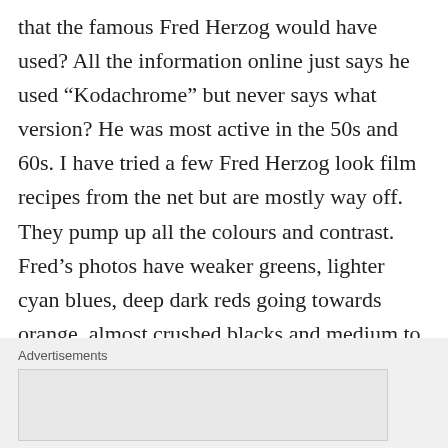that the famous Fred Herzog would have used? All the information online just says he used “Kodachrome” but never says what version? He was most active in the 50s and 60s. I have tried a few Fred Herzog look film recipes from the net but are mostly way off. They pump up all the colours and contrast. Fred’s photos have weaker greens, lighter cyan blues, deep dark reds going towards orange, almost crushed blacks and medium to strong contrast. Grain can be medium to strong. Combining all of that is not easy to reproduce in a film recipe I guess. So is this
Advertisements